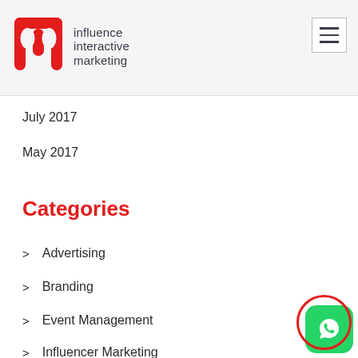influence interactive marketing
July 2017
May 2017
Categories
Advertising
Branding
Event Management
Influencer Marketing
SEO
[Figure (logo): WhatsApp icon button in green rounded square]